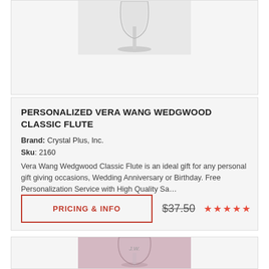[Figure (photo): Top portion of a wine flute glass product image on grey background]
PERSONALIZED VERA WANG WEDGWOOD CLASSIC FLUTE
Brand: Crystal Plus, Inc.
Sku: 2160
Vera Wang Wedgwood Classic Flute is an ideal gift for any personal gift giving occasions, Wedding Anniversary or Birthday. Free Personalization Service with High Quality Sa…
PRICING & INFO
$37.50
[Figure (photo): Crystal wine glass with engraved monogram J.W. on pinkish-grey background]